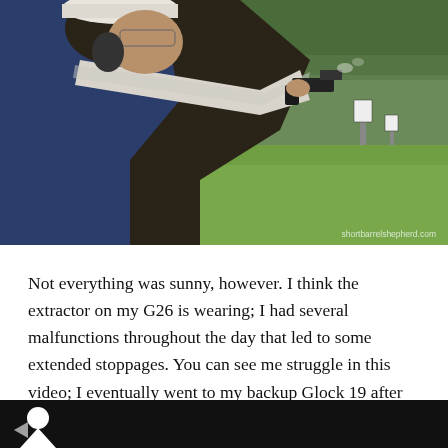[Figure (photo): A person at an outdoor shooting range aiming a pistol. They are wearing a white knit sweater, blue jacket, white cap, safety glasses, and ear protection. A shooting target is visible in the background on a grassy field with trees. Gun smoke is visible near the pistol. Watermark reads: shortbarrelshepherd.com]
Not everything was sunny, however. I think the extractor on my G26 is wearing; I had several malfunctions throughout the day that led to some extended stoppages. You can see me struggle in this video; I eventually went to my backup Glock 19 after tap-rack-ready failed to clear the malfunction.
[Figure (screenshot): Bottom bar with dark/black background and a partially visible white icon or logo on the left side.]